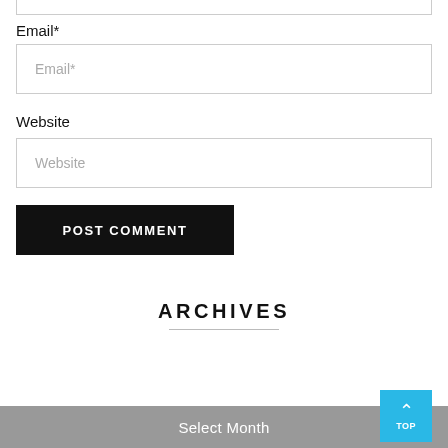Email*
[Figure (screenshot): Email input field with placeholder text 'Email*']
Website
[Figure (screenshot): Website input field with placeholder text 'Website']
[Figure (screenshot): POST COMMENT button, black background, white uppercase text]
ARCHIVES
[Figure (screenshot): Select Month dropdown bar in gray]
[Figure (screenshot): Blue TOP button with upward chevron arrow in bottom right corner]